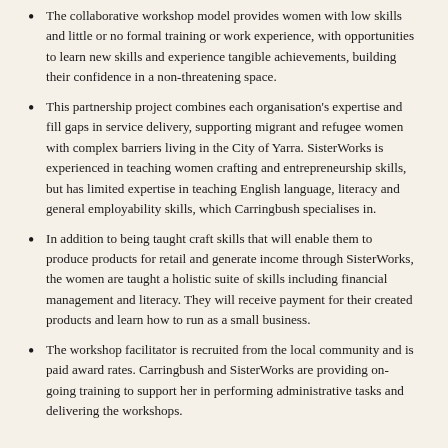The collaborative workshop model provides women with low skills and little or no formal training or work experience, with opportunities to learn new skills and experience tangible achievements, building their confidence in a non-threatening space.
This partnership project combines each organisation's expertise and fill gaps in service delivery, supporting migrant and refugee women with complex barriers living in the City of Yarra. SisterWorks is experienced in teaching women crafting and entrepreneurship skills, but has limited expertise in teaching English language, literacy and general employability skills, which Carringbush specialises in.
In addition to being taught craft skills that will enable them to produce products for retail and generate income through SisterWorks, the women are taught a holistic suite of skills including financial management and literacy. They will receive payment for their created products and learn how to run as a small business.
The workshop facilitator is recruited from the local community and is paid award rates. Carringbush and SisterWorks are providing on-going training to support her in performing administrative tasks and delivering the workshops.